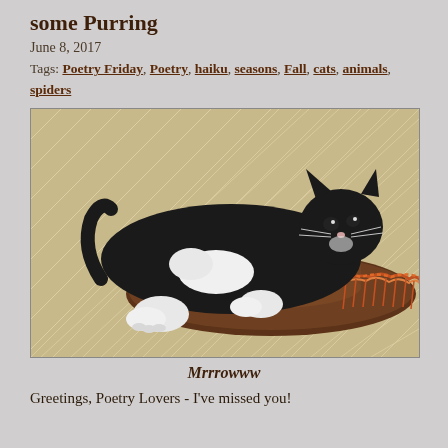some Purring
June 8, 2017
Tags: Poetry Friday, Poetry, haiku, seasons, Fall, cats, animals, spiders
[Figure (photo): A black and white tuxedo cat lying stretched out on a brown felt cowboy hat with colorful fringe/braided trim, on a patterned carpet floor]
Mrrrowww
Greetings, Poetry Lovers - I've missed you!